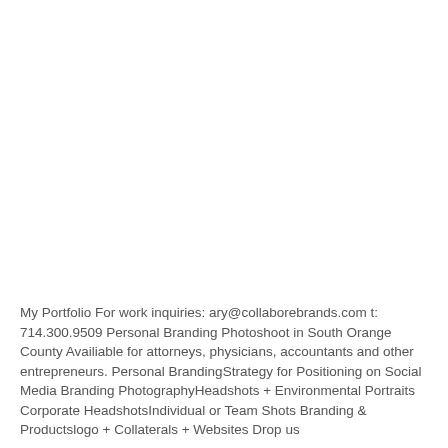My Portfolio For work inquiries: ary@collaborebrands.com t: 714.300.9509 Personal Branding Photoshoot in South Orange County Availiable for attorneys, physicians, accountants and other entrepreneurs. Personal BrandingStrategy for Positioning on Social Media Branding PhotographyHeadshots + Environmental Portraits Corporate HeadshotsIndividual or Team Shots Branding & Productslogo + Collaterals + Websites Drop us